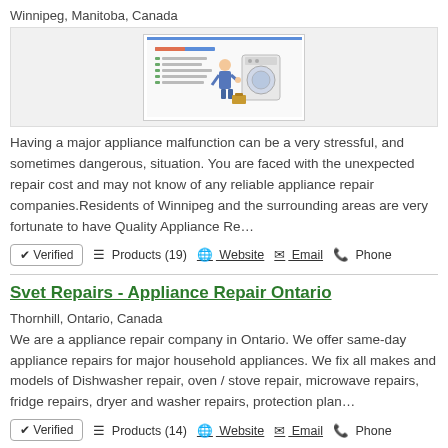Winnipeg, Manitoba, Canada
[Figure (photo): Appliance repair service advertisement image showing a technician and washing machine]
Having a major appliance malfunction can be a very stressful, and sometimes dangerous, situation. You are faced with the unexpected repair cost and may not know of any reliable appliance repair companies.Residents of Winnipeg and the surrounding areas are very fortunate to have Quality Appliance Re…
✔ Verified   ☰ Products (19)   🌐 Website   ✉ Email   📞 Phone
Svet Repairs - Appliance Repair Ontario
Thornhill, Ontario, Canada
We are a appliance repair company in Ontario. We offer same-day appliance repairs for major household appliances. We fix all makes and models of Dishwasher repair, oven / stove repair, microwave repairs, fridge repairs, dryer and washer repairs, protection plan…
✔ Verified   ☰ Products (14)   🌐 Website   ✉ Email   📞 Phone